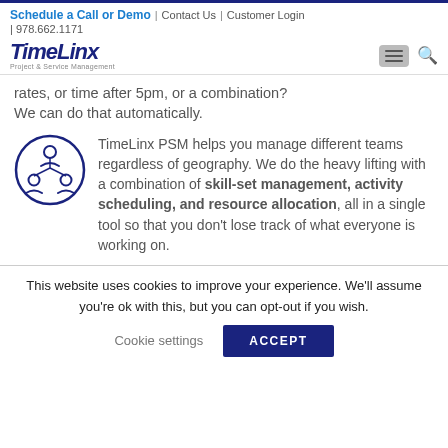Schedule a Call or Demo | Contact Us | Customer Login | 978.662.1171
[Figure (logo): TimeLinx Project & Service Management logo with hamburger menu and search icon]
rates, or time after 5pm, or a combination? We can do that automatically.
TimeLinx PSM helps you manage different teams regardless of geography. We do the heavy lifting with a combination of skill-set management, activity scheduling, and resource allocation, all in a single tool so that you don't lose track of what everyone is working on.
This website uses cookies to improve your experience. We'll assume you're ok with this, but you can opt-out if you wish.
Cookie settings  ACCEPT